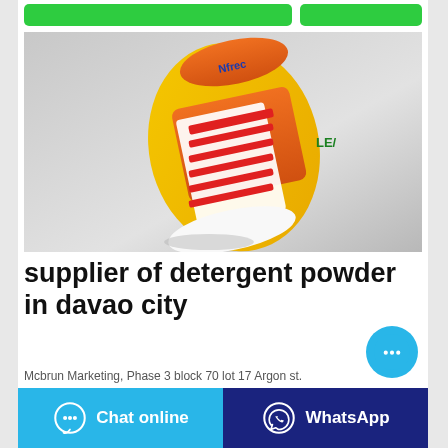[Figure (photo): Product photo: side view of a yellow and orange detergent powder bag with label details visible, on a grey background.]
supplier of detergent powder in davao city
Mcbrun Marketing, Phase 3 block 70 lot 17 Argon st. Davao ... supplier of detergent powder in davao city
[Figure (other): Floating chat bubble button (cyan circle with three dots)]
Chat online   WhatsApp